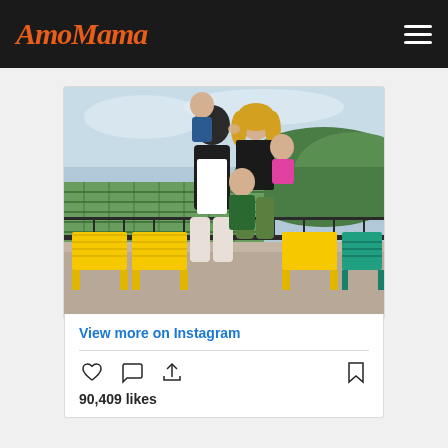AmoMama
[Figure (photo): Family photo showing a couple kissing while holding children, standing on a terrace with yellow and teal chairs, green vineyard hills in background]
View more on Instagram
90,409 likes